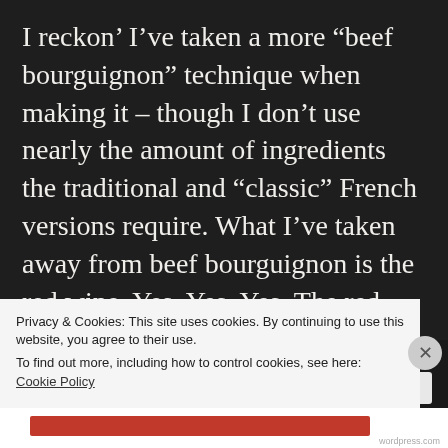I reckon' I've taken a more “beef bourguignon” technique when making it – though I don’t use nearly the amount of ingredients the traditional and “classic” French versions require. What I’ve taken away from beef bourguignon is the red wine. Yes. Yes. Yes. The red wine makes all the difference. You ever see folks drinking red wine with their big ole’ honky-tonk steaks? It’s because it tastes really, really good
Privacy & Cookies: This site uses cookies. By continuing to use this website, you agree to their use.
To find out more, including how to control cookies, see here: Cookie Policy